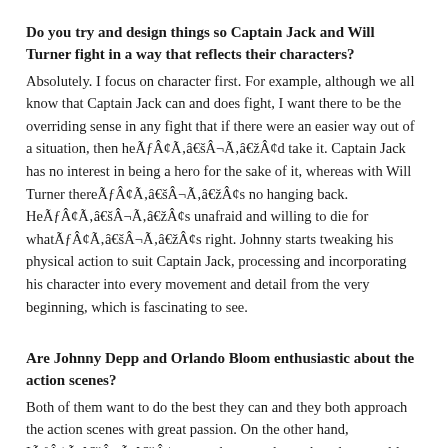Do you try and design things so Captain Jack and Will Turner fight in a way that reflects their characters?
Absolutely. I focus on character first. For example, although we all know that Captain Jack can and does fight, I want there to be the overriding sense in any fight that if there were an easier way out of a situation, then heÃƒÂ¢Ã¢â€šÂ¬Ã¢â€žÂ¢d take it. Captain Jack has no interest in being a hero for the sake of it, whereas with Will Turner thereÃƒÂ¢Ã¢â€šÂ¬Ã¢â€žÂ¢s no hanging back. HeÃƒÂ¢Ã¢â€šÂ¬Ã¢â€žÂ¢s unafraid and willing to die for whatÃƒÂ¢Ã¢â€šÂ¬Ã¢â€žÂ¢s right. Johnny starts tweaking his physical action to suit Captain Jack, processing and incorporating his character into every movement and detail from the very beginning, which is fascinating to see.
Are Johnny Depp and Orlando Bloom enthusiastic about the action scenes?
Both of them want to do the best they can and they both approach the action scenes with great passion. On the other hand, IÃƒÂ¢Ã¢â€šÂ¬Ã¢â€žÂ¢m sure there are days when they would rather be doing dialogue in a scene thatÃƒÂ¢Ã¢â€šÂ¬Ã¢â€žÂ¢s purely romantic or comic than being strapped inside a giant rotating wheel in 120-degree heat and humidity!